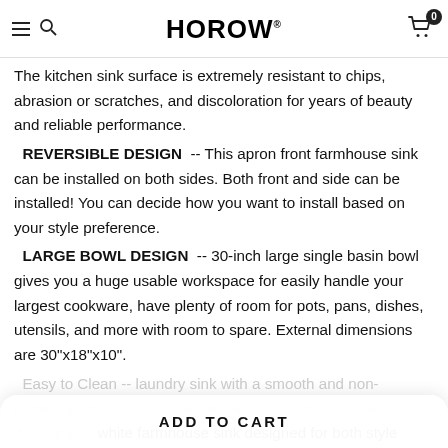HOROW® — navigation header with hamburger menu, search, cart (0)
The kitchen sink surface is extremely resistant to chips, abrasion or scratches, and discoloration for years of beauty and reliable performance.
REVERSIBLE DESIGN -- This apron front farmhouse sink can be installed on both sides. Both front and side can be installed! You can decide how you want to install based on your style preference.
LARGE BOWL DESIGN -- 30-inch large single basin bowl gives you a huge usable workspace for easily handle your largest cookware, have plenty of room for pots, pans, dishes, utensils, and more with room to spare. External dimensions are 30"x18"x10".
Easy to Clean -- laundry sink with a smooth and non-porous glazed surface, easy to care, and easy to clean the surface, white farmhouse sink designed for both style and...
ADD TO CART